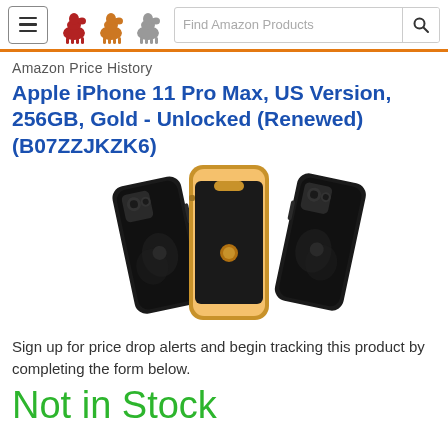CamelCamelCamel navigation bar with menu button, camel logo, and search field (Find Amazon Products)
Amazon Price History
Apple iPhone 11 Pro Max, US Version, 256GB, Gold - Unlocked (Renewed) (B07ZZJKZK6)
[Figure (photo): Three views of Apple iPhone 11 Pro Max in Gold color — back-left view, front-center view, and back-right view]
Sign up for price drop alerts and begin tracking this product by completing the form below.
Not in Stock